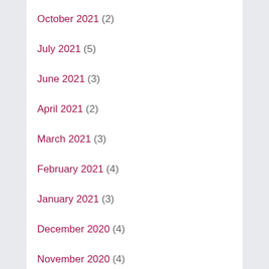October 2021 (2)
July 2021 (5)
June 2021 (3)
April 2021 (2)
March 2021 (3)
February 2021 (4)
January 2021 (3)
December 2020 (4)
November 2020 (4)